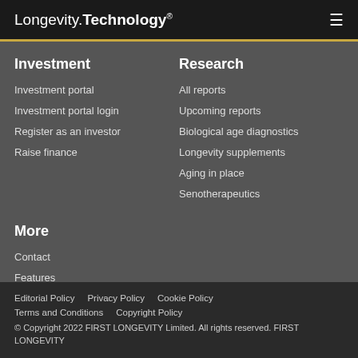Longevity.Technology®
Investment
Investment portal
Investment portal login
Register as an investor
Raise finance
Research
All reports
Upcoming reports
Biological age diagnostics
Longevity supplements
Aging in place
Senotherapeutics
More
Contact
Features
Editorial Policy  Privacy Policy  Cookie Policy  Terms and Conditions  Copyright Policy  © Copyright 2022 FIRST LONGEVITY Limited. All rights reserved. FIRST LONGEVITY